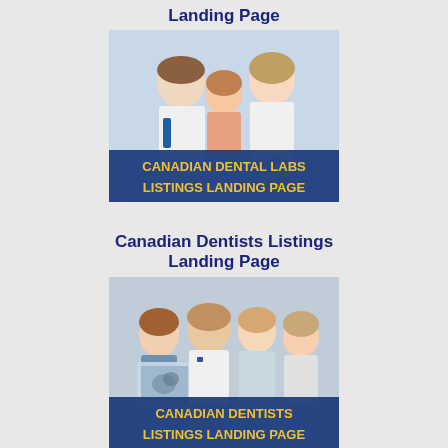Canadian Dental Labs Listings Landing Page
[Figure (photo): Photo of a male dentist and a female adult giving thumbs up with a child between them, with a blue banner overlay reading 'CANADIAN DENTAL LABS LISTINGS LANDING PAGE' in yellow text]
Canadian Dentists Listings Landing Page
[Figure (photo): Photo of a group of dental professionals looking at an x-ray together, with a blue banner overlay reading 'CANADIAN DENTISTS LISTINGS LANDING PAGE' in yellow text]